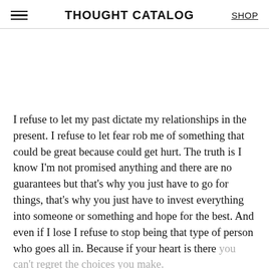THOUGHT CATALOG | SHOP
I refuse to let my past dictate my relationships in the present. I refuse to let fear rob me of something that could be great because could get hurt. The truth is I know I'm not promised anything and there are no guarantees but that's why you just have to go for things, that's why you just have to invest everything into someone or something and hope for the best. And even if I lose I refuse to stop being that type of person who goes all in. Because if your heart is there you can't regret the choices you make.